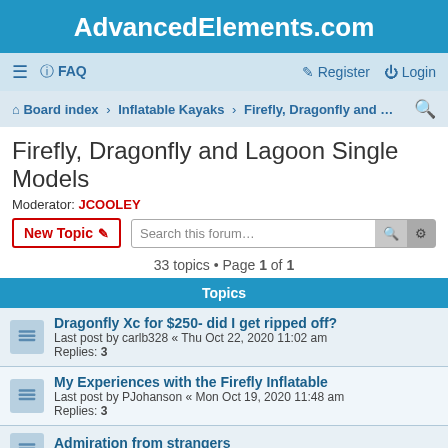AdvancedElements.com
FAQ  Register  Login
Board index › Inflatable Kayaks › Firefly, Dragonfly and …
Firefly, Dragonfly and Lagoon Single Models
Moderator: JCOOLEY
33 topics • Page 1 of 1
Topics
Dragonfly Xc for $250- did I get ripped off?
Last post by carlb328 « Thu Oct 22, 2020 11:02 am
Replies: 3
My Experiences with the Firefly Inflatable
Last post by PJohanson « Mon Oct 19, 2020 11:48 am
Replies: 3
Admiration from strangers
Last post by PJohanson « Fri Sep 08, 2017 9:44 am
Lagoon 1 Main Chamber Leak
Last post by Arianna20 « Sat Feb 11, 2017 2:00 am
Replies: 5
Firefly accessories